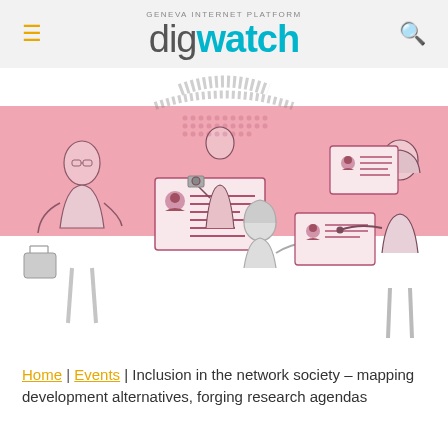GENEVA INTERNET PLATFORM digwatch
[Figure (illustration): Illustration of people interacting with large display screens/ID cards on a pink and white background. Multiple figures including a person with a briefcase, a person photographing a board, a person on their knees examining something, and a person pointing at a display. Style is halftone sketch in pink and grey tones.]
Home | Events | Inclusion in the network society – mapping development alternatives, forging research agendas